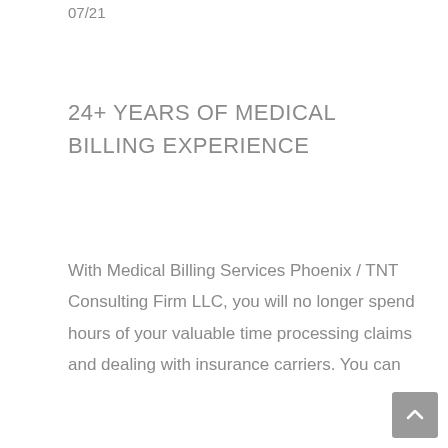07/21
24+ YEARS OF MEDICAL BILLING EXPERIENCE
With Medical Billing Services Phoenix / TNT Consulting Firm LLC, you will no longer spend hours of your valuable time processing claims and dealing with insurance carriers. You can